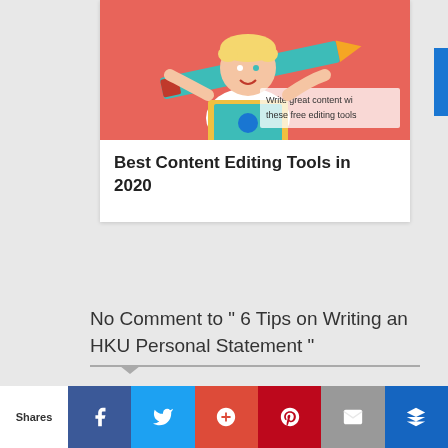[Figure (illustration): Cartoon illustration of a blonde boy holding a large teal pencil across a laptop on a salmon/coral background, with text 'Write great content wi... these free editing tools']
Best Content Editing Tools in 2020
No Comment to " 6 Tips on Writing an HKU Personal Statement "
Please make your real thoughts/comments and don't spam. Spam comments will be removed